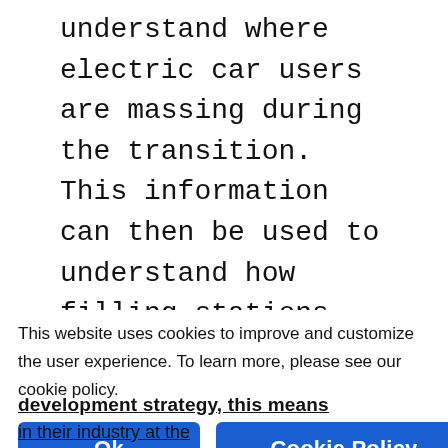understand where electric car users are massing during the transition. This information can then be used to understand how filling stations can become the first movers in servicing their specific consumer needs, and capturing them for additional sales.
This website uses cookies to improve and customize the user experience. To learn more, please see our cookie policy.
Ok | Cookie Policy
development strategy, this means in their industry at the...